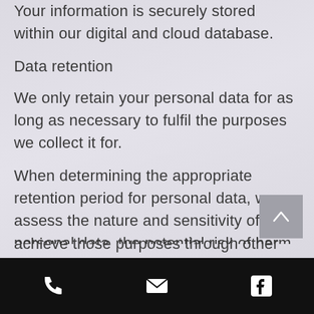Your information is securely stored within our digital and cloud database.
Data retention
We only retain your personal data for as long as necessary to fulfil the purposes we collect it for.
When determining the appropriate retention period for personal data, we assess the nature and sensitivity of the personal data, the potential risk of harm from unauthorised use or disclosure of your personal data, the purposes for which we process your
achieve those purposes through other